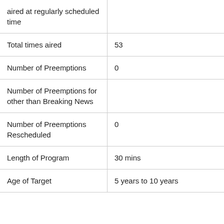| aired at regularly scheduled time |  |
| Total times aired | 53 |
| Number of Preemptions | 0 |
| Number of Preemptions for other than Breaking News |  |
| Number of Preemptions Rescheduled | 0 |
| Length of Program | 30 mins |
| Age of Target | 5 years to 10 years |